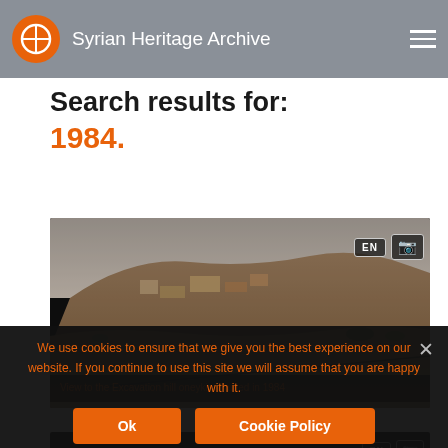Syrian Heritage Archive
Search results for: 1984.
[Figure (photo): Black and white photograph of an archaeological excavation site on a hill in Syria, 1984. Shows exposed mudbrick ruins and desert landscape.]
View to the Excavation hill oneykim named in 1984
We use cookies to ensure that we give you the best experience on our website. If you continue to use this site we will assume that you are happy with it.
[Figure (screenshot): Partial view of a second search result card with camera and EN badge icons visible]